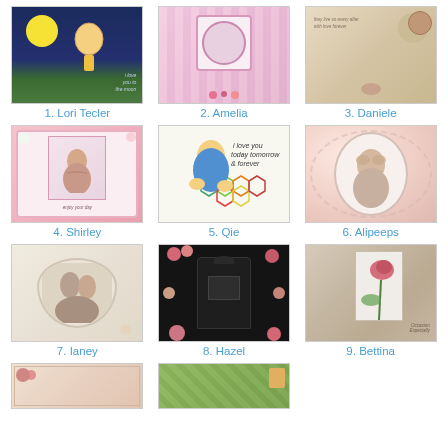[Figure (photo): Handmade greeting card with dark blue background, yellow moon, and cursive text 'I love you to the moon']
1. Lori Tecler
[Figure (photo): Pink floral handmade card with vintage image in center, pink striped background and flower embellishments]
2. Amelia
[Figure (photo): Vintage beige card with floral decorations and ribbon, handwritten style text]
3. Daniele
[Figure (photo): Pink decorative card with mouse or animal character holding umbrella, flower embellishments and pearls]
4. Shirley
[Figure (photo): Card with cartoon child character, colorful hexagon pattern, text 'i love you today tomorrow & forever']
5. Qie
[Figure (photo): Pink card with vintage bunny illustration in oval doily frame]
6. Alipeeps
[Figure (photo): Vintage sepia-toned card with couple photo in heart frame, romantic design]
7. Ianey
[Figure (photo): Dark background card shaped like mailbox with floral embellishments in pink and red flowers]
8. Hazel
[Figure (photo): Brown toned card with rose illustration, vintage patterned background, white panel]
9. Bettina
[Figure (photo): Partial view of card 10 in bottom row - floral design]
[Figure (photo): Partial view of card 11 in bottom row - green patterned design]